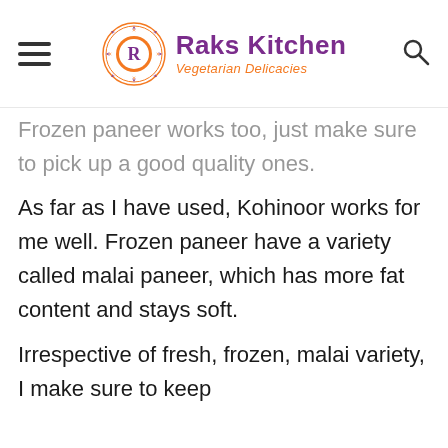Raks Kitchen — Vegetarian Delicacies
Frozen paneer works too, just make sure to pick up a good quality ones.
As far as I have used, Kohinoor works for me well. Frozen paneer have a variety called malai paneer, which has more fat content and stays soft.
Irrespective of fresh, frozen, malai variety, I make sure to keep